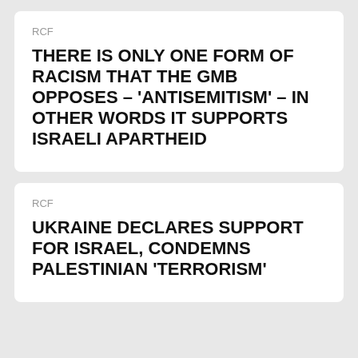RCF
THERE IS ONLY ONE FORM OF RACISM THAT THE GMB OPPOSES – 'ANTISEMITISM' – IN OTHER WORDS IT SUPPORTS ISRAELI APARTHEID
RCF
UKRAINE DECLARES SUPPORT FOR ISRAEL, CONDEMNS PALESTINIAN 'TERRORISM'